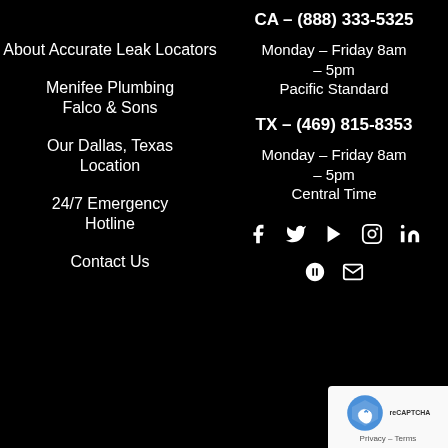About Accurate Leak Locators
Menifee Plumbing Falco & Sons
Our Dallas, Texas Location
24/7 Emergency Hotline
Contact Us
CA – (888) 333-5325
Monday – Friday 8am – 5pm Pacific Standard
TX – (469) 815-8353
Monday – Friday 8am – 5pm Central Time
[Figure (infographic): Social media icons: Facebook, Twitter, YouTube, Instagram, LinkedIn, Yelp, Email]
[Figure (other): reCAPTCHA badge with logo and Privacy - Terms text]
Proudly Serving L... Angeles, Orange County